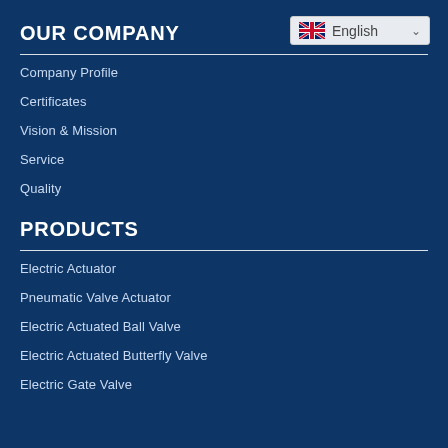OUR COMPANY
[Figure (other): UK flag icon with English language selector dropdown]
Company Profile
Certificates
Vision & Mission
Service
Quality
PRODUCTS
Electric Actuator
Pneumatic Valve Actuator
Electric Actuated Ball Valve
Electric Actuated Butterfly Valve
Electric Gate Valve